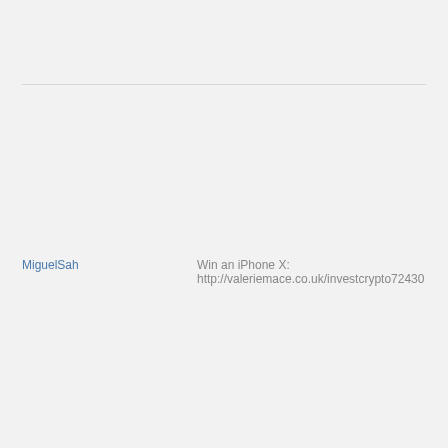MiguelSah    Win an iPhone X: http://valeriemace.co.uk/investcrypto72430